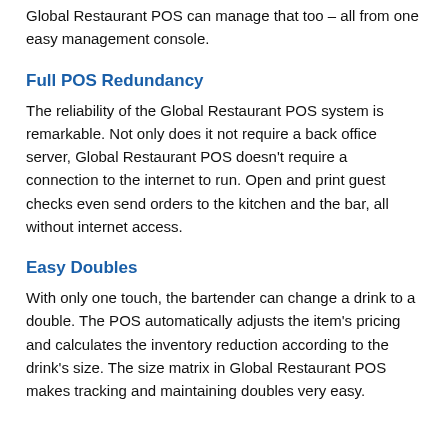Global Restaurant POS can manage that too – all from one easy management console.
Full POS Redundancy
The reliability of the Global Restaurant POS system is remarkable. Not only does it not require a back office server, Global Restaurant POS doesn't require a connection to the internet to run. Open and print guest checks even send orders to the kitchen and the bar, all without internet access.
Easy Doubles
With only one touch, the bartender can change a drink to a double. The POS automatically adjusts the item's pricing and calculates the inventory reduction according to the drink's size. The size matrix in Global Restaurant POS makes tracking and maintaining doubles very easy.